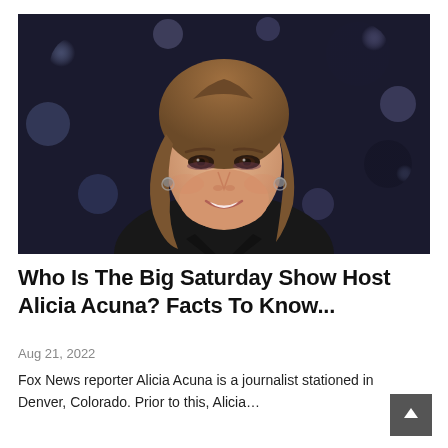[Figure (photo): Portrait photo of Alicia Acuna, a woman with shoulder-length brown hair, wearing a black blazer, smiling at camera against a blurred dark studio background with bokeh lights.]
Who Is The Big Saturday Show Host Alicia Acuna? Facts To Know...
Aug 21, 2022
Fox News reporter Alicia Acuna is a journalist stationed in Denver, Colorado. Prior to this, Alicia...